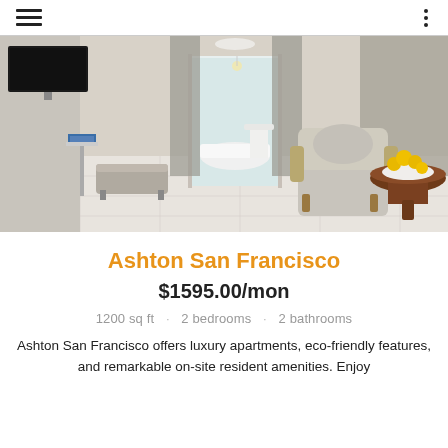≡  ⋮
[Figure (photo): Interior photo of a luxury apartment room with white marble floors, an ornate armchair, a round wooden side table with yellow flowers, grey draped curtains, a flat-screen TV mounted on the wall, and a white bathtub visible through an open doorway.]
Ashton San Francisco
$1595.00/mon
1200 sq ft  ·  2 bedrooms  ·  2 bathrooms
Ashton San Francisco offers luxury apartments, eco-friendly features, and remarkable on-site resident amenities. Enjoy